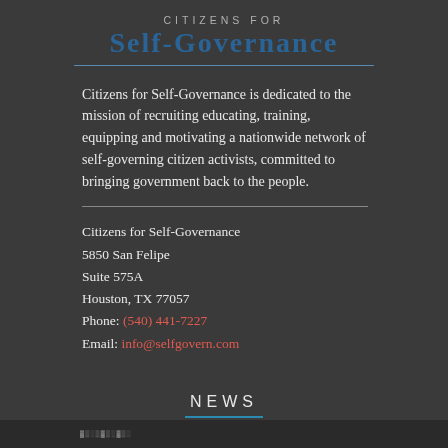[Figure (logo): Citizens for Self-Governance logo with 'CITIZENS FOR' in small caps above large bold 'SELF-GOVERNANCE' text in dark blue, with a thin horizontal rule beneath]
Citizens for Self-Governance is dedicated to the mission of recruiting educating, training, equipping and motivating a nationwide network of self-governing citizen activists, committed to bringing government back to the people.
Citizens for Self-Governance
5850 San Felipe
Suite 575A
Houston, TX 77057
Phone: (540) 441-7227
Email: info@selfgovern.com
NEWS